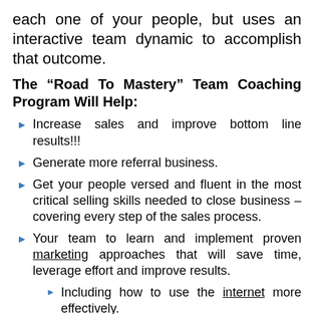each one of your people, but uses an interactive team dynamic to accomplish that outcome.
The “Road To Mastery” Team Coaching Program Will Help:
Increase sales and improve bottom line results!!!
Generate more referral business.
Get your people versed and fluent in the most critical selling skills needed to close business – covering every step of the sales process.
Your team to learn and implement proven marketing approaches that will save time, leverage effort and improve results.
Including how to use the internet more effectively.
Effective marketing is one of the most overlooked tools in sales today.